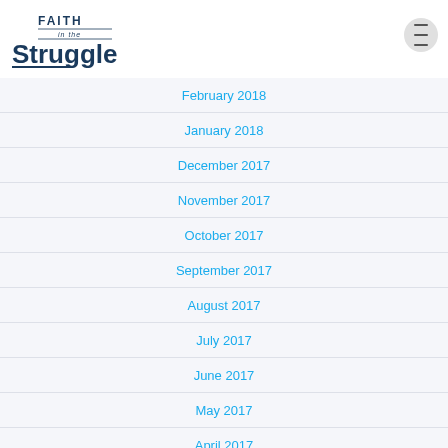[Figure (logo): Faith in the Struggle blog logo with dark navy text]
February 2018
January 2018
December 2017
November 2017
October 2017
September 2017
August 2017
July 2017
June 2017
May 2017
April 2017